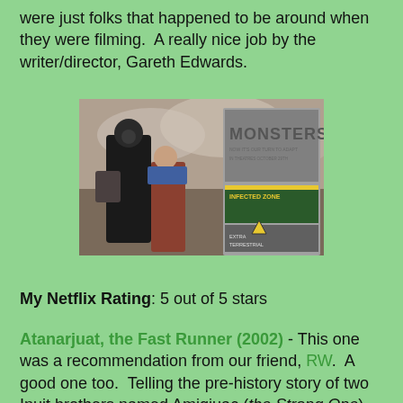were just folks that happened to be around when they were filming. A really nice job by the writer/director, Gareth Edwards.
[Figure (photo): Movie poster/promotional image for 'Monsters' showing two people walking with smoke in the background, and a sign reading 'INFECTED ZONE'. Text on poster reads: MONSTERS, NOW IT'S OUR TURN TO ADAPT, IN THEATRES OCTOBER 29TH, EXTRA TERRESTRIAL]
My Netflix Rating: 5 out of 5 stars
Atanarjuat, the Fast Runner (2002) - This one was a recommendation from our friend, RW. A good one too. Telling the pre-history story of two Inuit brothers named Amiqjuac (the Strong One) and Atanarjuat (the Fast Runner). They and the rest of their tribe must deal with a haunting evil that has come to their people in the form of a mocking shaman. Atanarjuat falls in love with a woman who